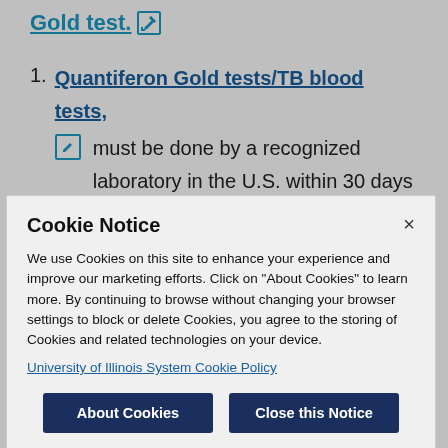Gold test. [edit icon]
1. Quantiferon Gold tests/TB blood tests, [edit icon] must be done by a recognized laboratory in the U.S. within 30 days of attending classes and a copy of that document should be submitted to the Polici...
Cookie Notice
We use Cookies on this site to enhance your experience and improve our marketing efforts. Click on "About Cookies" to learn more. By continuing to browse without changing your browser settings to block or delete Cookies, you agree to the storing of Cookies and related technologies on your device.
University of Illinois System Cookie Policy